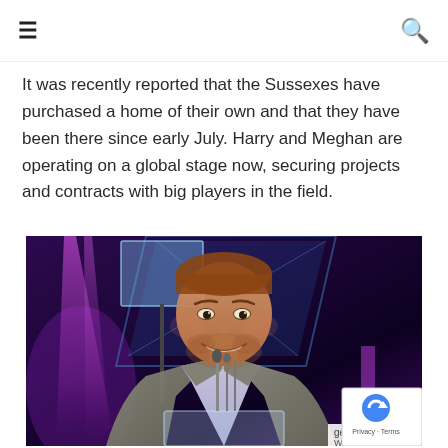☰ [hamburger menu] | [search icon]
It was recently reported that the Sussexes have purchased a home of their own and that they have been there since early July. Harry and Meghan are operating on a global stage now, securing projects and contracts with big players in the field.
[Figure (photo): A man (Prince Harry) smiling at a podium with microphones, wearing a grey blazer and light blue shirt, against a purple stage-lit dark background with geometric shapes and a teleprompter visible.]